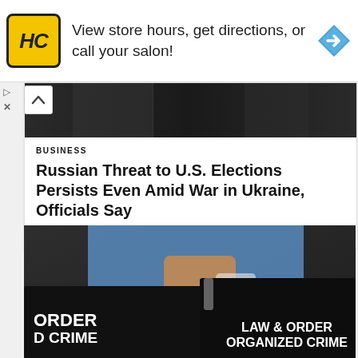[Figure (screenshot): Advertisement banner: HC logo (yellow square with black HC letters), text 'View store hours, get directions, or call your salon!', blue navigation arrow icon on the right]
[Figure (photo): Dark partial photo of people in formal attire from a news article about Russian election threats]
BUSINESS
Russian Threat to U.S. Elections Persists Even Amid War in Ukraine, Officials Say
Businesshala  -  July 20, 2022
[Figure (photo): Photo showing person in blue shirt with dark equipment bags labeled 'ORDER D CRIME' on left and 'LAW & ORDER ORGANIZED CRIME' on right — Law & Order Organized Crime TV show set]